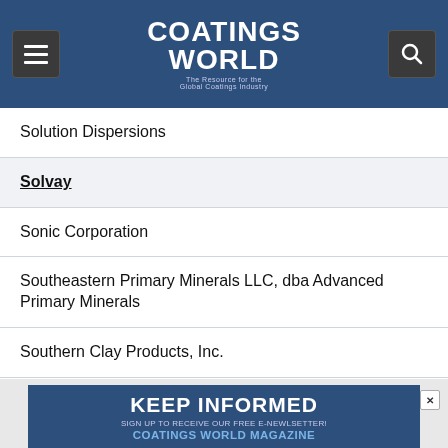Coatings World
Solution Dispersions
Solvay
Sonic Corporation
Southeastern Primary Minerals LLC, dba Advanced Primary Minerals
Southern Clay Products, Inc.
Soy Technologies LLC
Specialty Chemical Sales, Inc.
Specialty Polymers, Inc.
SpecMetrix Systems (Sensory Analytics )
[Figure (infographic): Advertisement banner: KEEP INFORMED - Sign up to receive our free e-newsletter! Coatings World Magazine]